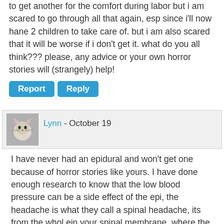to get another for the comfort during labor but i am scared to go through all that again, esp since i'll now hane 2 children to take care of. but i am also scared that it will be worse if i don't get it. what do you all think??? please, any advice or your own horror stories will (strangely) help!
Report  Reply
Lynn - October 19
I have never had an epidural and won't get one because of horror stories like yours. I have done enough research to know that the low blood pressure can be a side effect of the epi, the headache is what they call a spinal headache, its from the whol ein your spinal membrane, where the epidural was, didn't clot properly and you